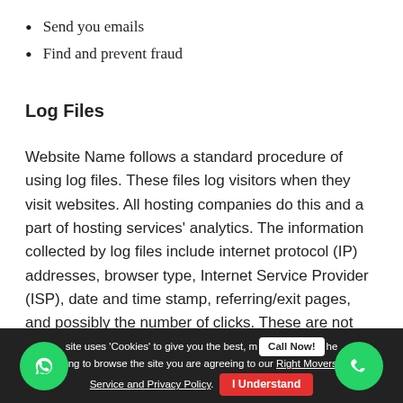Send you emails
Find and prevent fraud
Log Files
Website Name follows a standard procedure of using log files. These files log visitors when they visit websites. All hosting companies do this and a part of hosting services' analytics. The information collected by log files include internet protocol (IP) addresses, browser type, Internet Service Provider (ISP), date and time stamp, referring/exit pages, and possibly the number of clicks. These are not linked to any information that is personally identifiable. The purpose of the information is for analyzing trends, administering the site, tracking users' movement on the website, and gathering demographic information
This site uses 'Cookies' to give you the best, most relevant experience. By continuing to browse the site you are agreeing to our Right Movers Service and Privacy Policy. | Call Now! | I Understand